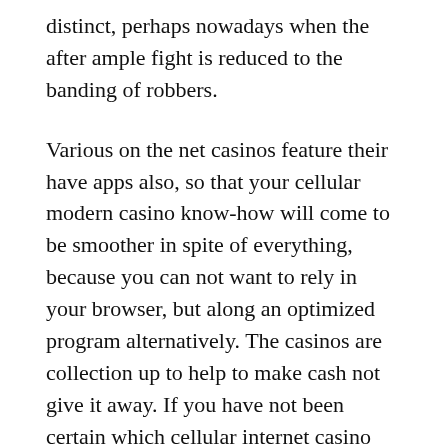distinct, perhaps nowadays when the after ample fight is reduced to the banding of robbers.
Various on the net casinos feature their have apps also, so that your cellular modern casino know-how will come to be smoother in spite of everything, because you can not want to rely in your browser, but along an optimized program alternatively. The casinos are collection up to help to make cash not give it away. If you have not been certain which cellular internet casino you want to have fun in, we recommend that you get the check yourself. The Wii Athletics Vacation resort could be faced as a follow up to the popular Wii Sports activities, since the